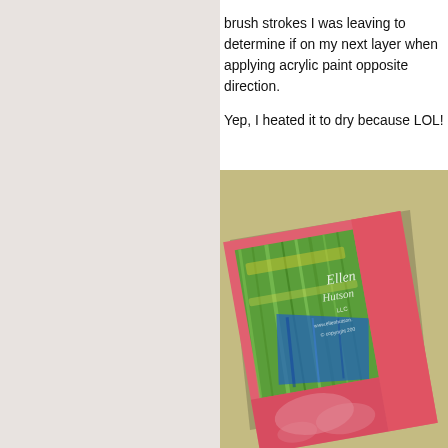brush strokes I was leaving to determine if on my next layer when applying acrylic paint opposite direction.

Yep, I heated it to dry because LOL!
[Figure (photo): A colorful handmade card with acrylic paint brush strokes in red, green, blue and yellow, lying on a tan/gold background. The card is tilted at an angle. An Ellen Hutson LLC watermark and copyright notice is visible in the upper right area of the photo.]